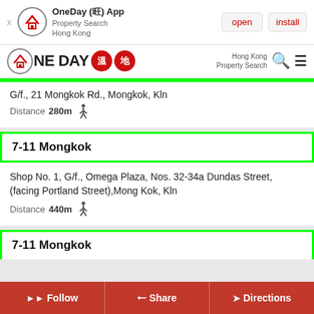[Figure (screenshot): OneDay app install banner with logo, open and install buttons]
[Figure (screenshot): OneDay Hong Kong Property Search navigation bar with logo badges and search/menu icons]
G/f., 21 Mongkok Rd., Mongkok, Kln
Distance 280m (walking icon)
7-11 Mongkok
Shop No. 1, G/f., Omega Plaza, Nos. 32-34a Dundas Street, (facing Portland Street),Mong Kok, Kln
Distance 440m (walking icon)
7-11 Mongkok
Follow  Share  Directions